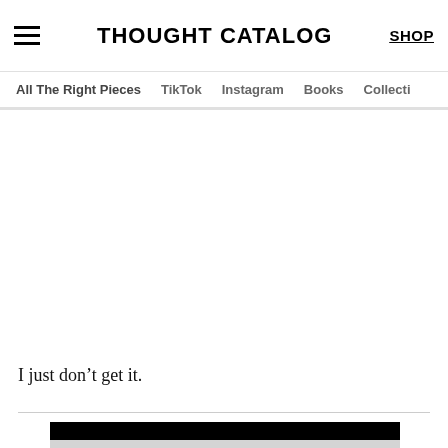THOUGHT CATALOG | SHOP
All The Right Pieces | TikTok | Instagram | Books | Collecti
I just don’t get it.
[Figure (screenshot): Partial screenshot of a website embedded widget or media element with a black header bar and gray content area]